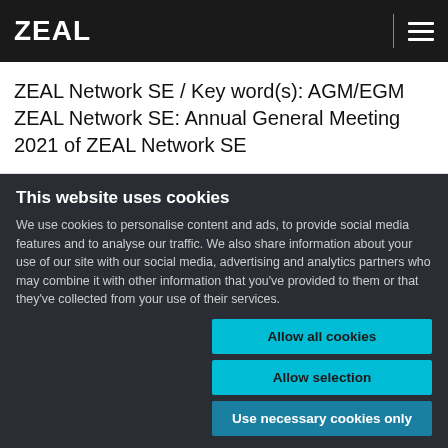ZEAL
ZEAL Network SE / Key word(s): AGM/EGM ZEAL Network SE: Annual General Meeting 2021 of ZEAL Network SE
This website uses cookies
We use cookies to personalise content and ads, to provide social media features and to analyse our traffic. We also share information about your use of our site with our social media, advertising and analytics partners who may combine it with other information that you've provided to them or that they've collected from your use of their services.
Allow all cookies
Allow selection
Use necessary cookies only
Necessary  Preferences  Statistics  Marketing  Show details